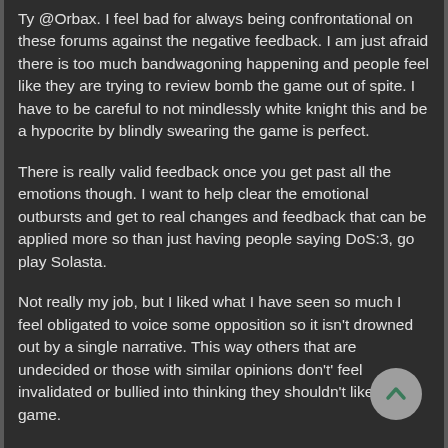Ty @Orbax. I feel bad for always being confrontational on these forums against the negative feedback. I am just afraid there is too much bandwagoning happening and people feel like they are trying to review bomb the game out of spite. I have to be careful to not mindlessly white knight this and be a hypocrite by blindly swearing the game is perfect.
There is really valid feedback once you get past all the emotions though. I want to help clear the emotional outbursts and get to real changes and feedback that can be applied more so than just having people saying DoS:3, go play Solasta.
Not really my job, but I liked what I have seen so much I feel obligated to voice some opposition so it isn't drowned out by a single narrative. This way others that are undecided or those with similar opinions don't' feel invalidated or bullied into thinking they shouldn't like this game.
It's like the emperor's new clothes. Everyone knew he didn't have clothes, but no one wanted to say anything. Once someone did, everyone felt ok to express what they have been thinking. This happens in real life all the time with people thinking "they" are wrong, because there is only one opinion being discussed and it turns into a one